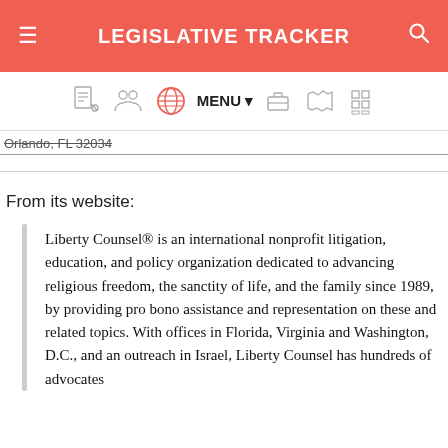LEGISLATIVE TRACKER
[Figure (screenshot): Navigation bar with icons: document, people, globe (highlighted in red), MENU dropdown, briefcase, US map, grid list]
Orlando, FL 32034
From its website:
Liberty Counsel® is an international nonprofit litigation, education, and policy organization dedicated to advancing religious freedom, the sanctity of life, and the family since 1989, by providing pro bono assistance and representation on these and related topics. With offices in Florida, Virginia and Washington, D.C., and an outreach in Israel, Liberty Counsel has hundreds of advocates